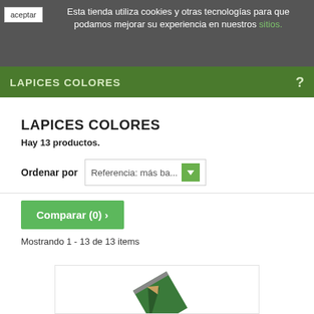Esta tienda utiliza cookies y otras tecnologías para que podamos mejorar su experiencia en nuestros sitios.
LAPICES COLORES
LAPICES COLORES
Hay 13 productos.
Ordenar por  Referencia: más ba...
Comparar (0) >
Mostrando 1 - 13 de 13 items
[Figure (photo): Partial view of a colored pencil product image at the bottom of the page]